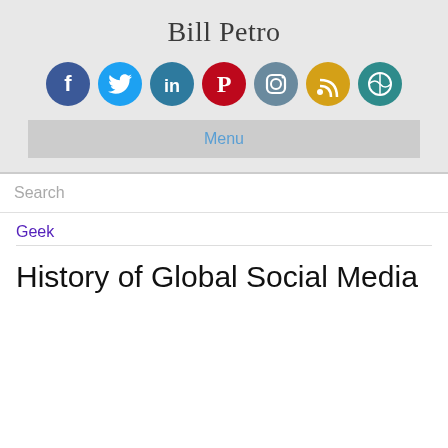Bill Petro
[Figure (infographic): Row of 7 social media icons: Facebook (dark blue), Twitter (light blue), LinkedIn (teal/blue), Pinterest (red), Instagram (grey-blue), RSS (orange/gold), WordPress (teal)]
Menu
Search
Geek
History of Global Social Media